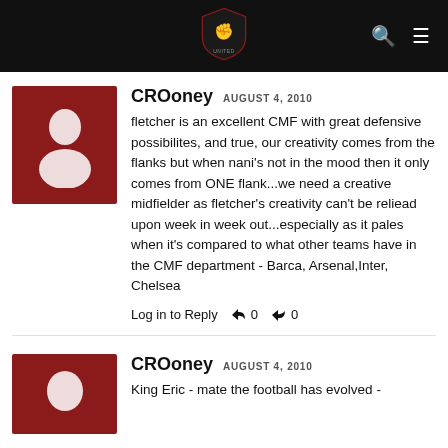CROoney - AUGUST 4, 2010
fletcher is an excellent CMF with great defensive possibilites, and true, our creativity comes from the flanks but when nani's not in the mood then it only comes from ONE flank...we need a creative midfielder as fletcher's creativity can't be reliead upon week in week out...especially as it pales when it's compared to what other teams have in the CMF department - Barca, Arsenal,Inter, Chelsea
Log in to Reply  0  0
CROoney - AUGUST 4, 2010
King Eric - mate the football has evolved -